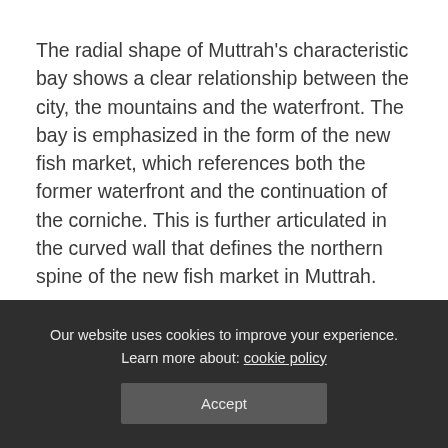The radial shape of Muttrah's characteristic bay shows a clear relationship between the city, the mountains and the waterfront. The bay is emphasized in the form of the new fish market, which references both the former waterfront and the continuation of the corniche. This is further articulated in the curved wall that defines the northern spine of the new fish market in Muttrah.
Our website uses cookies to improve your experience. Learn more about: cookie policy